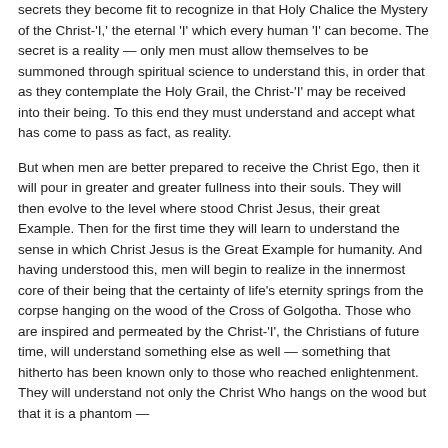secrets they become fit to recognize in that Holy Chalice the Mystery of the Christ-'I,' the eternal 'I' which every human 'I' can become. The secret is a reality — only men must allow themselves to be summoned through spiritual science to understand this, in order that as they contemplate the Holy Grail, the Christ-'I' may be received into their being. To this end they must understand and accept what has come to pass as fact, as reality.
But when men are better prepared to receive the Christ Ego, then it will pour in greater and greater fullness into their souls. They will then evolve to the level where stood Christ Jesus, their great Example. Then for the first time they will learn to understand the sense in which Christ Jesus is the Great Example for humanity. And having understood this, men will begin to realize in the innermost core of their being that the certainty of life's eternity springs from the corpse hanging on the wood of the Cross of Golgotha. Those who are inspired and permeated by the Christ-'I', the Christians of future time, will understand something else as well — something that hitherto has been known only to those who reached enlightenment. They will understand not only the Christ Who hangs on the wood but that it is a phantom — the Christ Who hangs on the wood of the Cross of Golgotha.